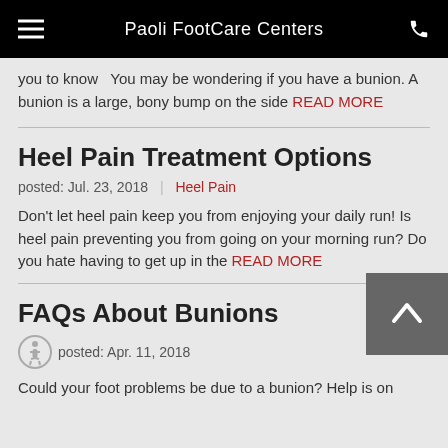Paoli FootCare Centers
you to know   You may be wondering if you have a bunion. A bunion is a large, bony bump on the side READ MORE
Heel Pain Treatment Options
posted: Jul. 23, 2018 | Heel Pain
Don't let heel pain keep you from enjoying your daily run! Is heel pain preventing you from going on your morning run? Do you hate having to get up in the READ MORE
FAQs About Bunions
posted: Apr. 11, 2018
Could your foot problems be due to a bunion? Help is on